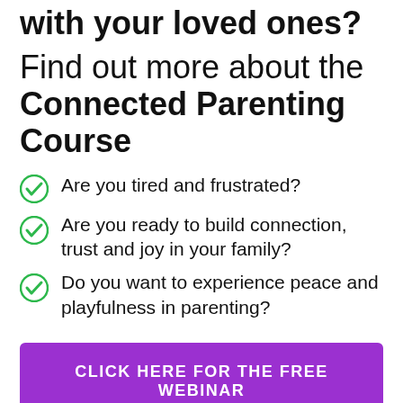with your loved ones?
Find out more about the Connected Parenting Course
Are you tired and frustrated?
Are you ready to build connection, trust and joy in your family?
Do you want to experience peace and playfulness in parenting?
CLICK HERE FOR THE FREE WEBINAR
Are you fed up and do you want